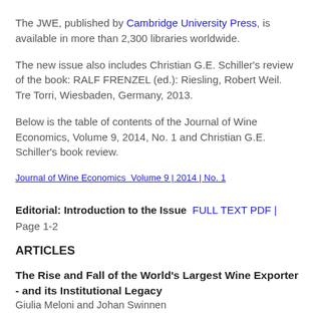The JWE, published by Cambridge University Press, is available in more than 2,300 libraries worldwide.
The new issue also includes Christian G.E. Schiller's review of the book: RALF FRENZEL (ed.): Riesling, Robert Weil. Tre Torri, Wiesbaden, Germany, 2013.
Below is the table of contents of the Journal of Wine Economics, Volume 9, 2014, No. 1 and Christian G.E. Schiller's book review.
Journal of Wine Economics  Volume 9 | 2014 | No. 1
Editorial: Introduction to the Issue  FULL TEXT PDF | Page 1-2
ARTICLES
The Rise and Fall of the World's Largest Wine Exporter - and its Institutional Legacy
Giulia Meloni and Johan Swinnen